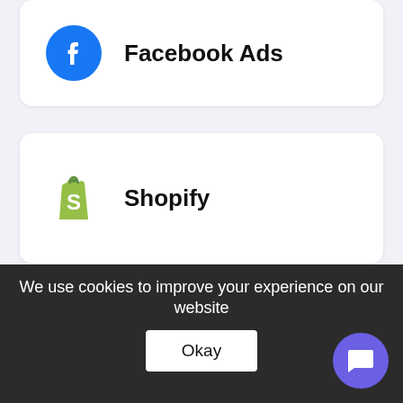[Figure (logo): Facebook Ads card with Facebook logo (blue circle with white 'f') and text 'Facebook Ads']
[Figure (logo): Shopify card with Shopify shopping bag logo (green) and text 'Shopify']
[Figure (logo): Instagram Insights card with Instagram logo and text 'Instagram Insights', labeled 'New' with sparkle icon]
We use cookies to improve your experience on our website
Okay